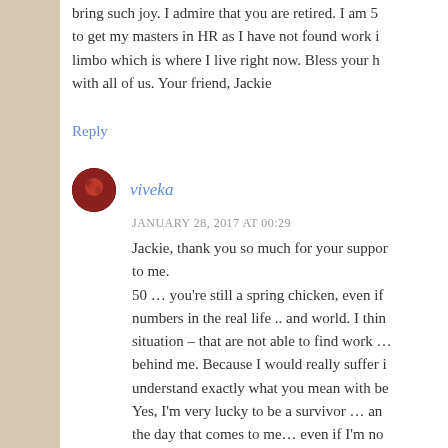bring such joy. I admire that you are retired. I am 5 to get my masters in HR as I have not found work i limbo which is where I live right now. Bless your h with all of us. Your friend, Jackie
Reply
[Figure (photo): Round avatar photo of user viveka, dark reddish-brown circular profile image]
viveka
JANUARY 28, 2017 AT 00:29
Jackie, thank you so much for your suppor to me. 50 … you're still a spring chicken, even if numbers in the real life .. and world. I thin situation – that are not able to find work … behind me. Because I would really suffer i understand exactly what you mean with be Yes, I'm very lucky to be a survivor … an the day that comes to me… even if I'm no